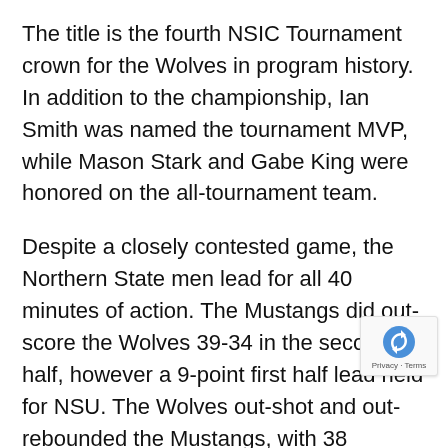The title is the fourth NSIC Tournament crown for the Wolves in program history. In addition to the championship, Ian Smith was named the tournament MVP, while Mason Stark and Gabe King were honored on the all-tournament team.
Despite a closely contested game, the Northern State men lead for all 40 minutes of action. The Mustangs did out-score the Wolves 39-34 in the second half, however a 9-point first half lead held for NSU. The Wolves out-shot and out-rebounded the Mustangs, with 38 rebounds to SMSU’s 25 and a 52.7 field goal percentage.
Northern combined for 14 assists, four blocks, four